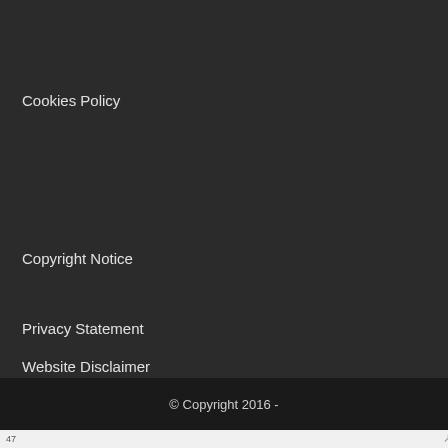Cookies Policy
Copyright Notice
Privacy Statement
Website Disclaimer
© Copyright 2016 -
47